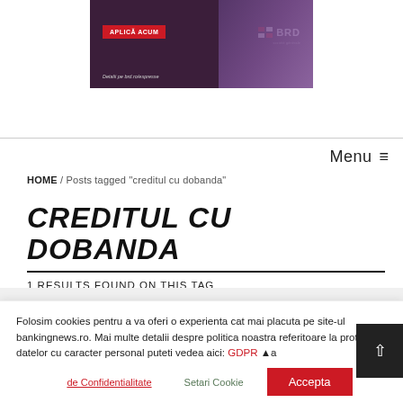[Figure (illustration): BRD bank advertisement banner with dark purple background, 'APLICA ACUM' red button, BRD Société Générale logo, and dog/person image on right side]
Menu ≡
HOME / Posts tagged "creditul cu dobanda"
CREDITUL CU DOBANDA
1 RESULTS FOUND ON THIS TAG
Folosim cookies pentru a va oferi o experienta cat mai placuta pe site-ul bankingnews.ro. Mai multe detalii despre politica noastra referitoare la protectia datelor cu caracter personal puteti vedea aici: GDPR ▲ a de Confidentialitate    Setari Cookie    Accepta